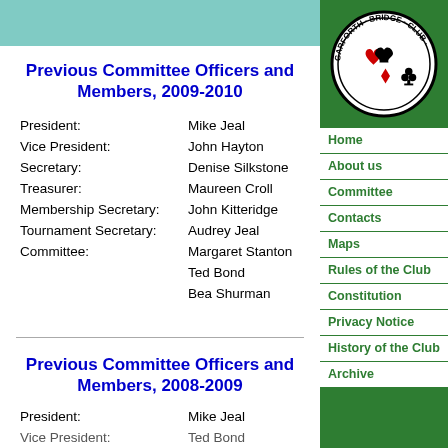[Figure (logo): Garforth Bridge Club circular logo with heart, spade, diamond, club suits]
Previous Committee Officers and Members, 2009-2010
| Role | Name |
| --- | --- |
| President: | Mike Jeal |
| Vice President: | John Hayton |
| Secretary: | Denise Silkstone |
| Treasurer: | Maureen Croll |
| Membership Secretary: | John Kitteridge |
| Tournament Secretary: | Audrey Jeal |
| Committee: | Margaret Stanton |
|  | Ted Bond |
|  | Bea Shurman |
Previous Committee Officers and Members, 2008-2009
| Role | Name |
| --- | --- |
| President: | Mike Jeal |
| Vice President: | Ted Bond |
Home
About us
Committee
Contacts
Maps
Rules of the Club
Constitution
Privacy Notice
History of the Club
Archive